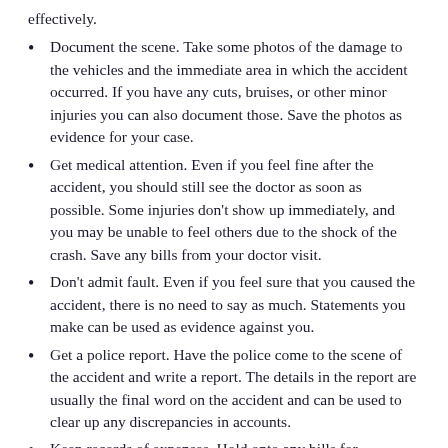effectively.
Document the scene. Take some photos of the damage to the vehicles and the immediate area in which the accident occurred. If you have any cuts, bruises, or other minor injuries you can also document those. Save the photos as evidence for your case.
Get medical attention. Even if you feel fine after the accident, you should still see the doctor as soon as possible. Some injuries don't show up immediately, and you may be unable to feel others due to the shock of the crash. Save any bills from your doctor visit.
Don't admit fault. Even if you feel sure that you caused the accident, there is no need to say as much. Statements you make can be used as evidence against you.
Get a police report. Have the police come to the scene of the accident and write a report. The details in the report are usually the final word on the accident and can be used to clear up any discrepancies in accounts.
Keep records of expenses. Hold onto any bills for